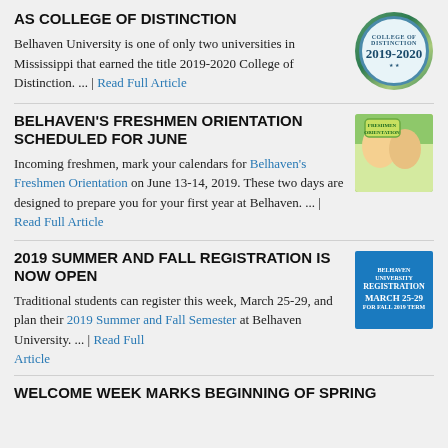AS COLLEGE OF DISTINCTION
Belhaven University is one of only two universities in Mississippi that earned the title 2019-2020 College of Distinction. ... | Read Full Article
[Figure (illustration): College of Distinction 2019-2020 circular badge/seal with blue border]
BELHAVEN'S FRESHMEN ORIENTATION SCHEDULED FOR JUNE
Incoming freshmen, mark your calendars for Belhaven's Freshmen Orientation on June 13-14, 2019. These two days are designed to prepare you for your first year at Belhaven. ... | Read Full Article
[Figure (photo): Students at Freshmen Orientation holding a sign]
2019 SUMMER AND FALL REGISTRATION IS NOW OPEN
Traditional students can register this week, March 25-29, and plan their 2019 Summer and Fall Semester at Belhaven University. ... | Read Full Article
[Figure (illustration): Blue registration banner: Belhaven University Registration March 25-29 for Fall 2019 Term]
WELCOME WEEK MARKS BEGINNING OF SPRING